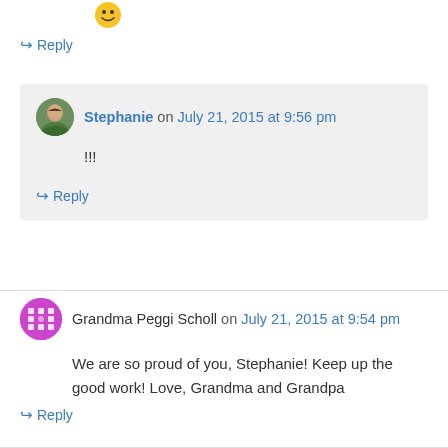[Figure (illustration): Smiley emoji face at top]
↪ Reply
Stephanie on July 21, 2015 at 9:56 pm
!!!
↪ Reply
Grandma Peggi Scholl on July 21, 2015 at 9:54 pm
We are so proud of you, Stephanie! Keep up the good work! Love, Grandma and Grandpa
↪ Reply